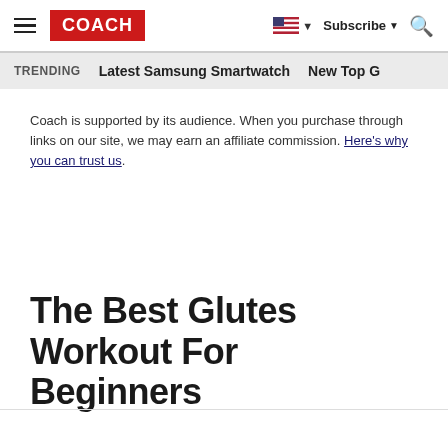COACH — Subscribe
TRENDING   Latest Samsung Smartwatch   New Top G
Coach is supported by its audience. When you purchase through links on our site, we may earn an affiliate commission. Here's why you can trust us.
The Best Glutes Workout For Beginners